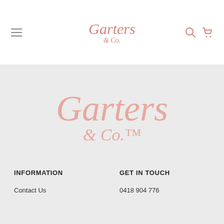[Figure (logo): Garters & Co. script logo in salmon/pink color in the page header navigation bar]
[Figure (logo): Large Garters & Co. script logo in light salmon/pink color centered in the footer area on a light gray background]
INFORMATION
GET IN TOUCH
Contact Us
0418 904 776